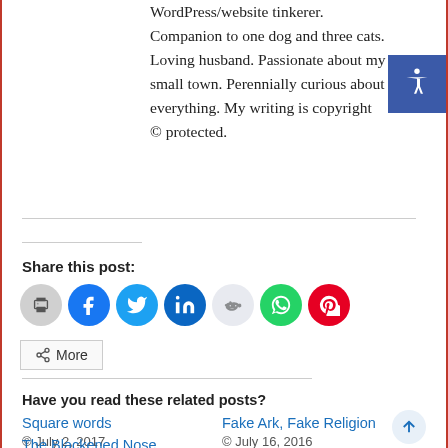WordPress/website tinkerer. Companion to one dog and three cats. Loving husband. Passionate about my small town. Perennially curious about everything. My writing is copyright © protected.
Share this post:
[Figure (other): Social sharing icons: print, Facebook, Twitter, LinkedIn, Reddit, WhatsApp, Pinterest, and a More button]
Have you read these related posts?
Square words
© July 2, 2017
Fake Ark, Fake Religion
© July 16, 2016
The Blackened Nose